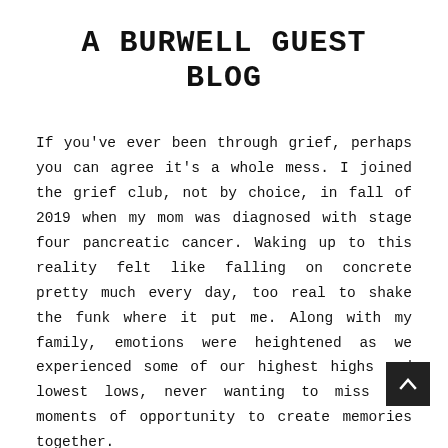A BURWELL GUEST BLOG
If you've ever been through grief, perhaps you can agree it's a whole mess. I joined the grief club, not by choice, in fall of 2019 when my mom was diagnosed with stage four pancreatic cancer. Waking up to this reality felt like falling on concrete pretty much every day, too real to shake the funk where it put me. Along with my family, emotions were heightened as we experienced some of our highest highs and lowest lows, never wanting to miss any moments of opportunity to create memories together.
Call me an optimist, but there's been hope